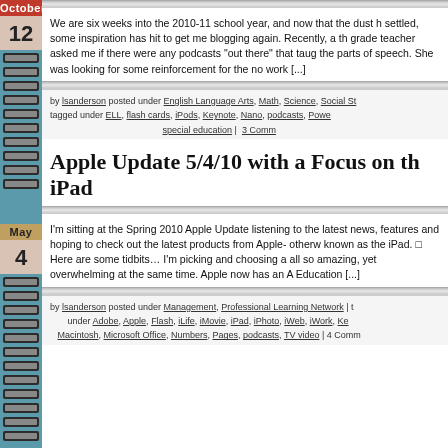October 12
We are six weeks into the 2010-11 school year, and now that the dust has settled, some inspiration has hit to get me blogging again. Recently, a th... grade teacher asked me if there were any podcasts "out there" that taug... the parts of speech. She was looking for some reinforcement for the no... work [...]
by lsanderson posted under English Language Arts, Math, Science, Social St... tagged under ELL, flash cards, iPods, Keynote, Nano, podcasts, Powe... special education | 3 Comm...
Apple Update 5/4/10 with a Focus on the iPad
May 4
I'm sitting at the Spring 2010 Apple Update listening to the latest news, features and hoping to check out the latest products from Apple- otherw... known as the iPad. Here are some tidbits… I'm picking and choosing a... all so amazing, yet overwhelming at the same time. Apple now has an A... Education [...]
by lsanderson posted under Management, Professional Learning Network | t... under Adobe, Apple, Flash, iLife, iMovie, iPad, iPhoto, iWeb, iWork, Ke... Macintosh, Microsoft Office, Numbers, Pages, podcasts, TV video | 4 Comm...